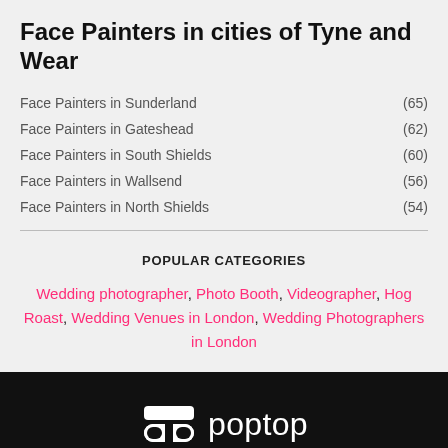Face Painters in cities of Tyne and Wear
Face Painters in Sunderland (65)
Face Painters in Gateshead (62)
Face Painters in South Shields (60)
Face Painters in Wallsend (56)
Face Painters in North Shields (54)
POPULAR CATEGORIES
Wedding photographer, Photo Booth, Videographer, Hog Roast, Wedding Venues in London, Wedding Photographers in London
[Figure (logo): Poptop logo — sunglasses icon and 'poptop' wordmark in white on black background]